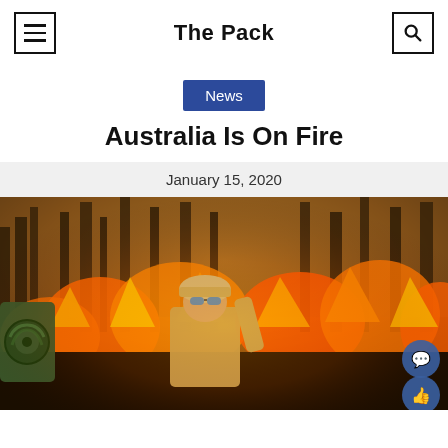The Pack
News
Australia Is On Fire
January 15, 2020
[Figure (photo): A firefighter in protective gear and sunglasses stands in front of large burning flames in a forest. Green equipment (hose reel) is visible to the left. The atmosphere is thick with smoke and orange-red fire.]